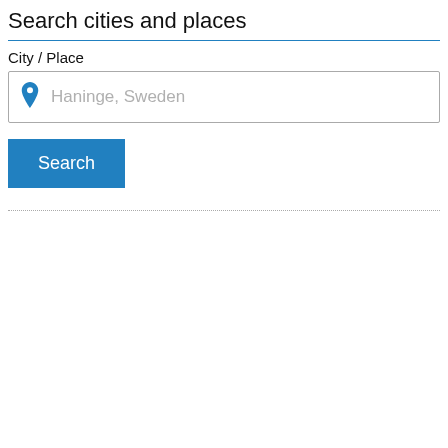Search cities and places
City / Place
[Figure (screenshot): Search input field with a map pin icon and placeholder text 'Haninge, Sweden']
[Figure (screenshot): Blue 'Search' button]